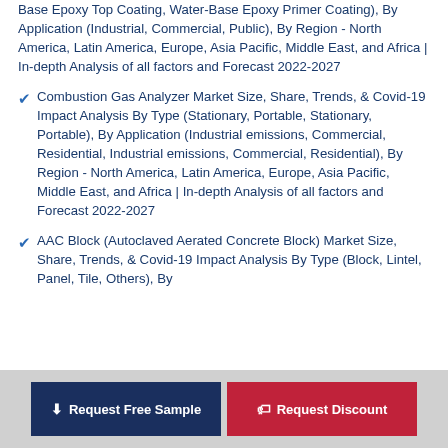Base Epoxy Top Coating, Water-Base Epoxy Primer Coating), By Application (Industrial, Commercial, Public), By Region - North America, Latin America, Europe, Asia Pacific, Middle East, and Africa | In-depth Analysis of all factors and Forecast 2022-2027
Combustion Gas Analyzer Market Size, Share, Trends, & Covid-19 Impact Analysis By Type (Stationary, Portable, Stationary, Portable), By Application (Industrial emissions, Commercial, Residential, Industrial emissions, Commercial, Residential), By Region - North America, Latin America, Europe, Asia Pacific, Middle East, and Africa | In-depth Analysis of all factors and Forecast 2022-2027
AAC Block (Autoclaved Aerated Concrete Block) Market Size, Share, Trends, & Covid-19 Impact Analysis By Type (Block, Lintel, Panel, Tile, Others), By...